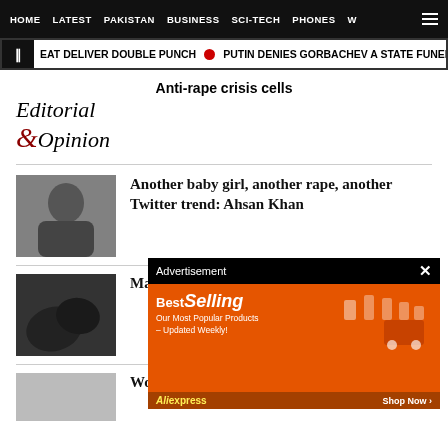HOME  LATEST  PAKISTAN  BUSINESS  SCI-TECH  PHONES  W
EAT DELIVER DOUBLE PUNCH  •  PUTIN DENIES GORBACHEV A STATE FUNERAL AND
Anti-rape crisis cells
Editorial & Opinion
[Figure (photo): Portrait photo of Ahsan Khan in dark clothing against grey background]
Another baby girl, another rape, another Twitter trend: Ahsan Khan
[Figure (photo): Black and white close-up photo of hands]
Man who raped death sentence
[Figure (photo): Light grey placeholder image]
Woman 'raped in clinic'
[Figure (screenshot): Advertisement overlay showing BestSelling AliExpress banner with orange background]